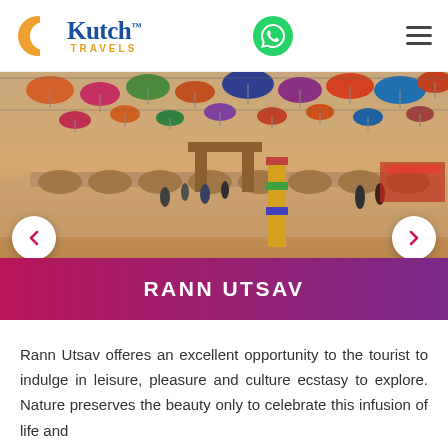[Figure (logo): Kutch Travels logo with orange semicircle icon and blue/orange text]
[Figure (photo): Rann Utsav festival ground with colorful decorative umbrellas hanging overhead, sandy ground, people walking, and market stalls in background]
RANN UTSAV
Rann Utsav offeres an excellent opportunity to the tourist to indulge in leisure, pleasure and culture ecstasy to explore. Nature preserves the beauty only to celebrate this infusion of life and